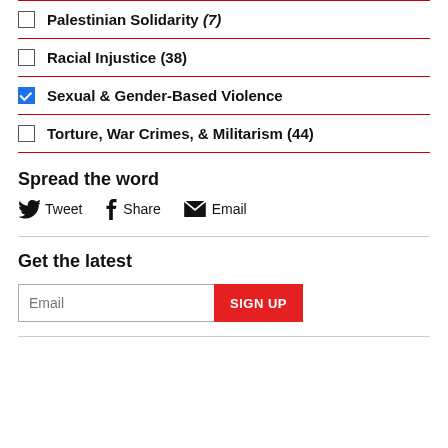Palestinian Solidarity (7)
Racial Injustice (38)
Sexual & Gender-Based Violence
Torture, War Crimes, & Militarism (44)
Spread the word
Tweet  Share  Email
Get the latest
Email  SIGN UP